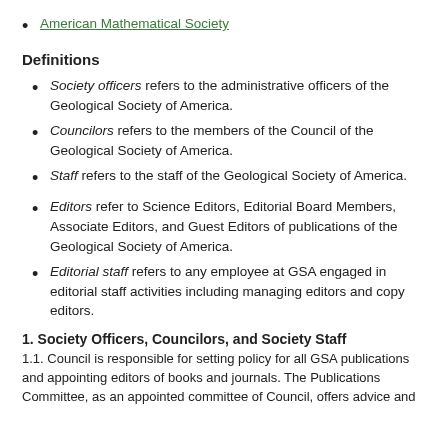American Mathematical Society
Definitions
Society officers refers to the administrative officers of the Geological Society of America.
Councilors refers to the members of the Council of the Geological Society of America.
Staff refers to the staff of the Geological Society of America.
Editors refer to Science Editors, Editorial Board Members, Associate Editors, and Guest Editors of publications of the Geological Society of America.
Editorial staff refers to any employee at GSA engaged in editorial staff activities including managing editors and copy editors.
1. Society Officers, Councilors, and Society Staff
1.1. Council is responsible for setting policy for all GSA publications and appointing editors of books and journals. The Publications Committee, as an appointed committee of Council, offers advice and